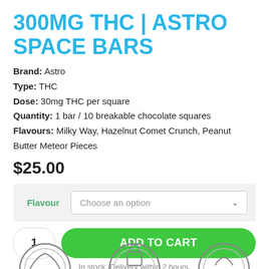300MG THC | ASTRO SPACE BARS
Brand: Astro
Type: THC
Dose: 30mg THC per square
Quantity: 1 bar / 10 breakable chocolate squares
Flavours: Milky Way, Hazelnut Comet Crunch, Peanut Butter Meteor Pieces
$25.00
Flavour — Choose an option (dropdown)
1  ADD TO CART
In stock. Delivery within 2 hours.
[Figure (illustration): Three circular badge icons at the bottom of the page, partially cropped]